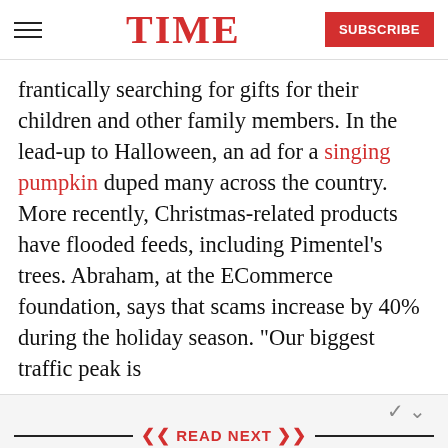TIME | SUBSCRIBE
frantically searching for gifts for their children and other family members. In the lead-up to Halloween, an ad for a singing pumpkin duped many across the country. More recently, Christmas-related products have flooded feeds, including Pimentel’s trees. Abraham, at the ECommerce foundation, says that scams increase by 40% during the holiday season. “Our biggest traffic peak is
READ NEXT
[Figure (photo): Photo of a small retail shop with people standing outside, storefront with signage]
How Small Retailers Are Getting Creative to Survive a Pandemic Holiday Season